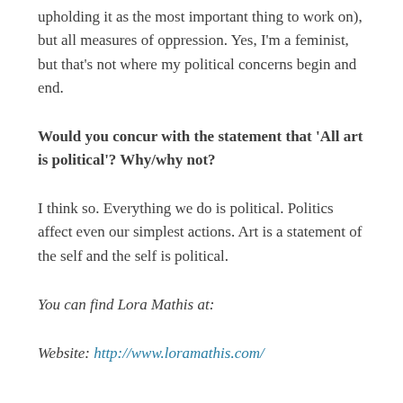upholding it as the most important thing to work on), but all measures of oppression. Yes, I'm a feminist, but that's not where my political concerns begin and end.
Would you concur with the statement that 'All art is political'? Why/why not?
I think so. Everything we do is political. Politics affect even our simplest actions. Art is a statement of the self and the self is political.
You can find Lora Mathis at:
Website: http://www.loramathis.com/